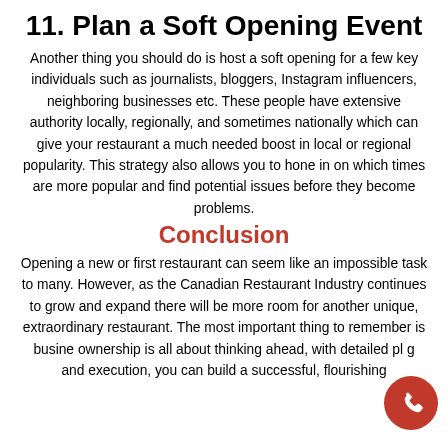11. Plan a Soft Opening Event
Another thing you should do is host a soft opening for a few key individuals such as journalists, bloggers, Instagram influencers, neighboring businesses etc. These people have extensive authority locally, regionally, and sometimes nationally which can give your restaurant a much needed boost in local or regional popularity. This strategy also allows you to hone in on which times are more popular and find potential issues before they become problems.
Conclusion
Opening a new or first restaurant can seem like an impossible task to many. However, as the Canadian Restaurant Industry continues to grow and expand there will be more room for another unique, extraordinary restaurant. The most important thing to remember is business ownership is all about thinking ahead, with detailed planning and execution, you can build a successful, flourishing